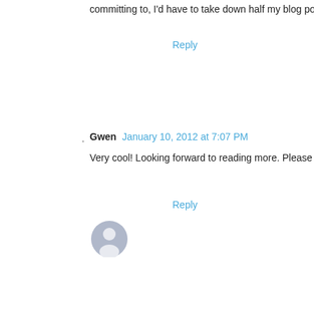committing to, I'd have to take down half my blog posts on fo
Reply
Gwen  January 10, 2012 at 7:07 PM
Very cool! Looking forward to reading more. Please share yo
Reply
Jenn Luberski  January 13, 2012 at 10:41 AM
I am in!
Reply
[Figure (other): User avatar placeholder icon with grey circle and silhouette]
Enter Comment
Newer Post
Home
Subscribe to: Post Comments (Atom)